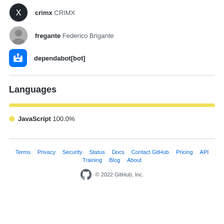crimx CRIMX
fregante Federico Brigante
dependabot[bot]
Languages
[Figure (bar-chart): Languages]
JavaScript 100.0%
Terms  Privacy  Security  Status  Docs  Contact GitHub  Pricing  API  Training  Blog  About  © 2022 GitHub, Inc.